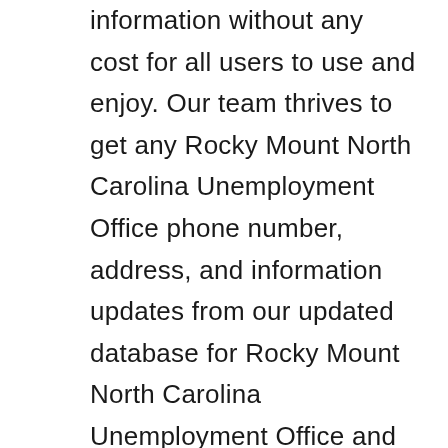information without any cost for all users to use and enjoy. Our team thrives to get any Rocky Mount North Carolina Unemployment Office phone number, address, and information updates from our updated database for Rocky Mount North Carolina Unemployment Office and other unemployment offices in the state of North Carolina and all other states. While we keep our database updated, we'd appreciate any information you may provide about Rocky Mount North Carolina Unemployment Office or other unemployment offices using the comments form below on this page.